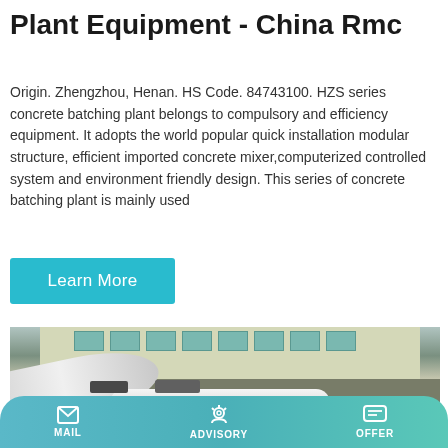Plant Equipment - China Rmc
Origin. Zhengzhou, Henan. HS Code. 84743100. HZS series concrete batching plant belongs to compulsory and efficiency equipment. It adopts the world popular quick installation modular structure, efficient imported concrete mixer,computerized controlled system and environment friendly design. This series of concrete batching plant is mainly used
[Figure (illustration): A cyan/blue Learn More button]
[Figure (photo): Photo of a concrete batching plant mixer truck and equipment in front of a multi-story building]
MAIL   ADVISORY   OFFER